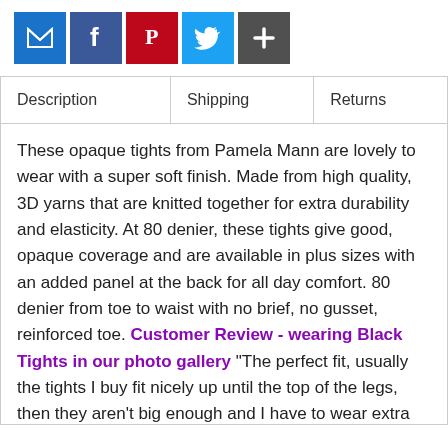[Figure (other): Social sharing buttons: email (blue), Facebook (dark blue), Pinterest (red), Twitter (light blue), more/plus (dark grey)]
| Description | Shipping | Returns |
| --- | --- | --- |
These opaque tights from Pamela Mann are lovely to wear with a super soft finish. Made from high quality, 3D yarns that are knitted together for extra durability and elasticity. At 80 denier, these tights give good, opaque coverage and are available in plus sizes with an added panel at the back for all day comfort. 80 denier from toe to waist with no brief, no gusset, reinforced toe. Customer Review - wearing Black Tights in our photo gallery "The perfect fit, usually the tights I buy fit nicely up until the top of the legs, then they aren't big enough and I have to wear extra underwear just to keep them up. With the pair that I bought from TheTightSpot it was the perfect size. No need to wear anything extra and they are so comfortable. It feels like I had them made specifically